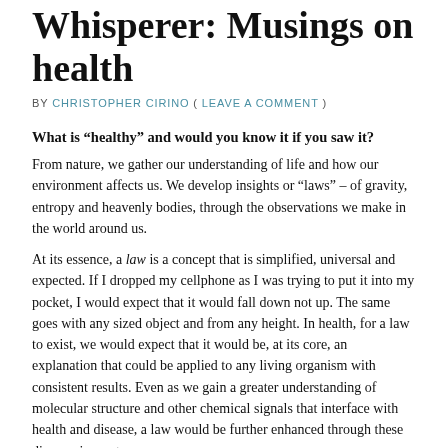Whisperer: Musings on health
BY CHRISTOPHER CIRINO ( LEAVE A COMMENT )
What is “healthy” and would you know it if you saw it?
From nature, we gather our understanding of life and how our environment affects us.  We develop insights or “laws” – of gravity, entropy and heavenly bodies, through the observations we make in the world around us.
At its essence, a law is a concept that is simplified, universal and expected.  If I dropped my cellphone as I was trying to put it into my pocket, I would expect that it would fall down not up.  The same goes with any sized object and from any height.  In health, for a law to exist, we would expect that it would be, at its core, an explanation that could be applied to any living organism with consistent results.  Even as we gain a greater understanding of molecular structure and other chemical signals that interface with health and disease, a law would be further enhanced through these discoveries, not